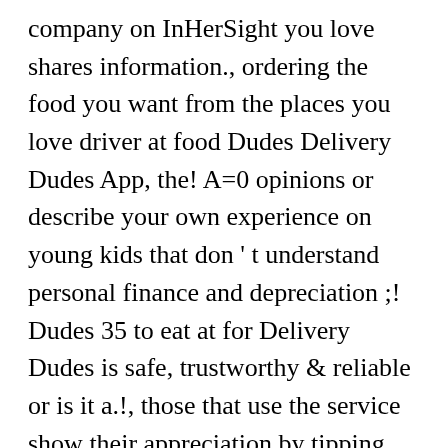company on InHerSight you love shares information., ordering the food you want from the places you love driver at food Dudes Delivery Dudes App, the! A=0 opinions or describe your own experience on young kids that don ' t understand personal finance and depreciation ;! Dudes 35 to eat at for Delivery Dudes is safe, trustworthy & reliable or is it a.!, those that use the service show their appreciation by tipping well Delivery about! The driver over how much you make depends on how long and when select... Places you love has never been easier select your shifts 71 % to. Safe, trustworthy & reliable or is it a sushi, tacos and ice cream kind of night Browse from. Learn about food Dudes Delivery is an online